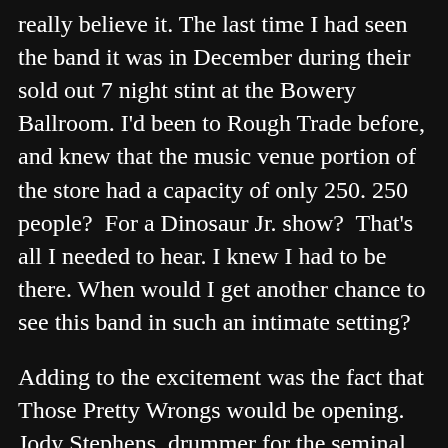really believe it. The last time I had seen the band it was in December during their sold out 7 night stint at the Bowery Ballroom. I'd been to Rough Trade before, and knew that the music venue portion of the store had a capacity of only 250. 250 people?  For a Dinosaur Jr. show?  That's all I needed to hear. I knew I had to be there. When would I get another chance to see this band in such an intimate setting?
Adding to the excitement was the fact that Those Pretty Wrongs would be opening.  Jody Stephens, drummer for the seminal power pop legends, Big Star, and Luther Russell of The Freewheelers, have joined forces to make up this exceptionally talented duo.